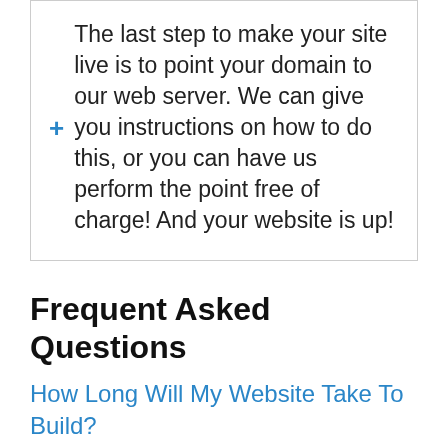The last step to make your site live is to point your domain to our web server. We can give you instructions on how to do this, or you can have us perform the point free of charge! And your website is up!
Frequent Asked Questions
How Long Will My Website Take To Build?